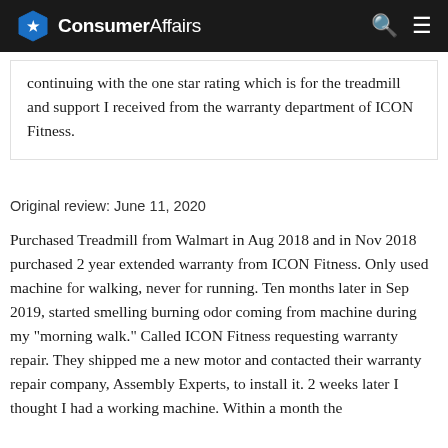ConsumerAffairs
continuing with the one star rating which is for the treadmill and support I received from the warranty department of ICON Fitness.
Original review: June 11, 2020
Purchased Treadmill from Walmart in Aug 2018 and in Nov 2018 purchased 2 year extended warranty from ICON Fitness. Only used machine for walking, never for running. Ten months later in Sep 2019, started smelling burning odor coming from machine during my "morning walk." Called ICON Fitness requesting warranty repair. They shipped me a new motor and contacted their warranty repair company, Assembly Experts, to install it. 2 weeks later I thought I had a working machine. Within a month the